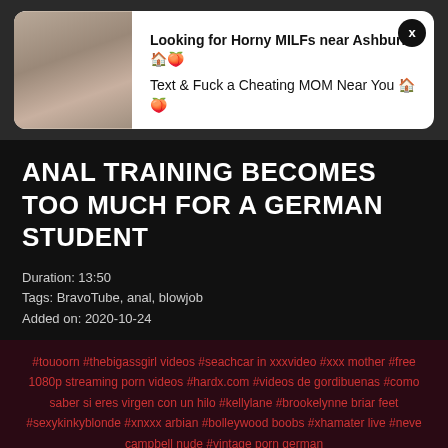[Figure (screenshot): Advertisement popup with woman photo, text: Looking for Horny MILFs near Ashburn? Text & Fuck a Cheating MOM Near You, with X close button]
ANAL TRAINING BECOMES TOO MUCH FOR A GERMAN STUDENT
Duration: 13:50
Tags: BravoTube, anal, blowjob
Added on: 2020-10-24
#touoorn #thebigassgirl videos #seachcar in xxxvideo #xxx mother #free 1080p streaming porn videos #hardx.com #videos de gordibuenas #como saber si eres virgen con un hilo #kellylane #brookelynne briar feet #sexykinkyblonde #xnxxx arbian #bolleywood boobs #xhamater live #neve campbell nude #vintage porn german